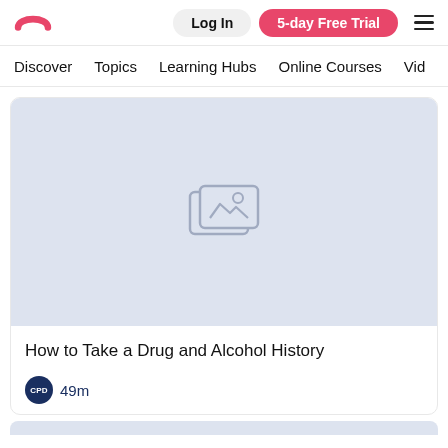[Figure (logo): Pink/red rainbow arc logo]
Log In
5-day Free Trial
Discover  Topics  Learning Hubs  Online Courses  Vid
[Figure (illustration): Light blue-gray placeholder image card with a landscape/image placeholder icon in the center]
How to Take a Drug and Alcohol History
CPD  49m